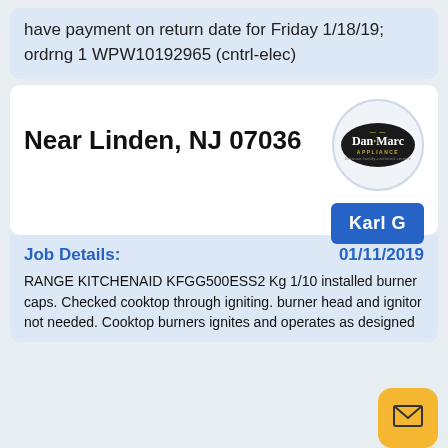have payment on return date for Friday 1/18/19; ordrng 1 WPW10192965 (cntrl-elec)
[Figure (logo): Dan-Marc Appliance logo, black oval with gold and white text]
Near Linden, NJ 07036
Karl G
Job Details:
01/11/2019
RANGE KITCHENAID KFGG500ESS2 Kg 1/10 installed burner caps. Checked cooktop through igniting. burner head and ignitor not needed. Cooktop burners ignites and operates as designed